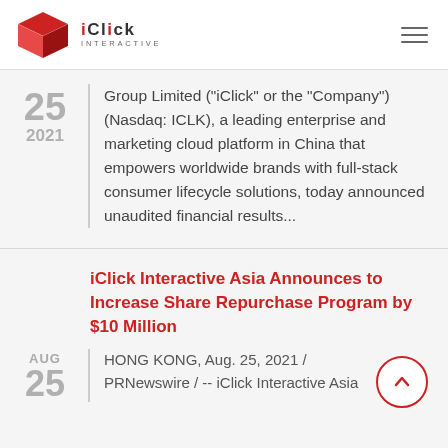[Figure (logo): iClick Interactive logo: red 3D cube icon with iClick Interactive text]
Group Limited ("iClick" or the "Company") (Nasdaq: ICLK), a leading enterprise and marketing cloud platform in China that empowers worldwide brands with full-stack consumer lifecycle solutions, today announced unaudited financial results...
iClick Interactive Asia Announces to Increase Share Repurchase Program by $10 Million
HONG KONG, Aug. 25, 2021 / PRNewswire / -- iClick Interactive Asia